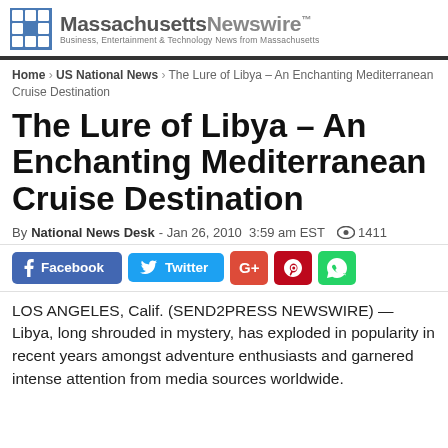Massachusetts Newswire™ — Business, Entertainment & Technology News from Massachusetts
Home › US National News › The Lure of Libya – An Enchanting Mediterranean Cruise Destination
The Lure of Libya – An Enchanting Mediterranean Cruise Destination
By National News Desk - Jan 26, 2010  3:59 am EST  👁 1411
[Figure (infographic): Social sharing buttons: Facebook, Twitter, Google+, Pinterest, WhatsApp]
LOS ANGELES, Calif. (SEND2PRESS NEWSWIRE) — Libya, long shrouded in mystery, has exploded in popularity in recent years amongst adventure enthusiasts and garnered intense attention from media sources worldwide.